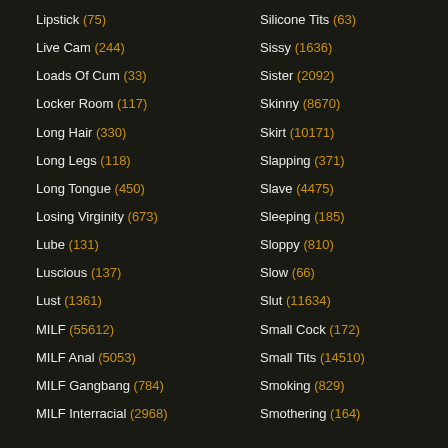Lipstick (75)
Live Cam (244)
Loads Of Cum (33)
Locker Room (117)
Long Hair (330)
Long Legs (118)
Long Tongue (450)
Losing Virginity (673)
Lube (131)
Luscious (137)
Lust (1361)
MILF (55612)
MILF Anal (5053)
MILF Gangbang (784)
MILF Interracial (2968)
Silicone Tits (63)
Sissy (1636)
Sister (2092)
Skinny (8670)
Skirt (10171)
Slapping (371)
Slave (4475)
Sleeping (185)
Sloppy (810)
Slow (66)
Slut (11634)
Small Cock (172)
Small Tits (14510)
Smoking (829)
Smothering (164)